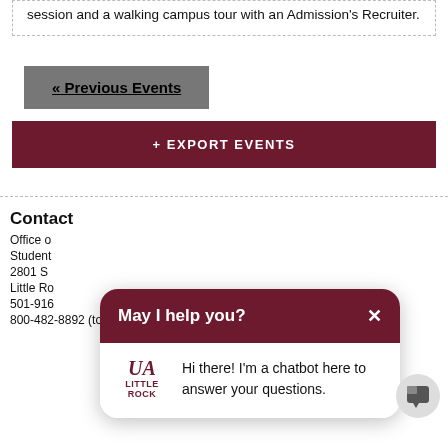session and a walking campus tour with an Admission's Recruiter.
« Previous Events
+ EXPORT EVENTS
Contact
Office of
Student
2801 S
Little Ro
501-910-
800-482-8892 (toll-free)
[Figure (screenshot): Chatbot popup overlay with UA Little Rock logo and message 'May I help you? Hi there! I am a chatbot here to answer your questions.']